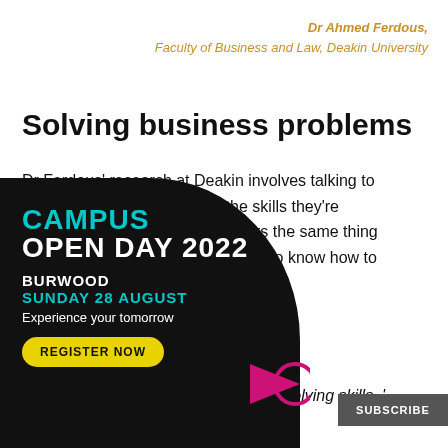Dr Ahmed Ferdous,
Faculty of Business and Law, Deakin University
Solving business problems
Dr Ferdous’ research at Deakin involves talking to industry professionals about the skills they’re looking for in employees. He hears the same thing repeatedly: they want graduates who know how to solve real-world problems.
[Figure (infographic): Campus Open Day 2022 promotional overlay on dark circular background. Text: CAMPUS OPEN DAY 2022 / BURWOOD / SUNDAY 28 AUGUST / Experience your tomorrow / REGISTER NOW button. Includes magenta arrow graphic.]
...day no matter what. You need to be ... at hand, which ... problem solving skills,’
SUBSCRIBE